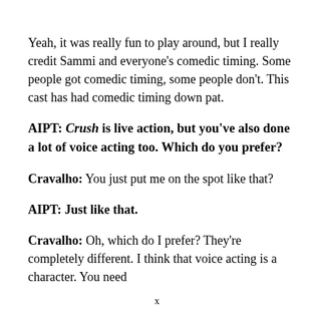Yeah, it was really fun to play around, but I really credit Sammi and everyone's comedic timing. Some people got comedic timing, some people don't. This cast has had comedic timing down pat.
AIPT: Crush is live action, but you've also done a lot of voice acting too. Which do you prefer?
Cravalho: You just put me on the spot like that?
AIPT: Just like that.
Cravalho: Oh, which do I prefer? They're completely different. I think that voice acting is a character. You need
x